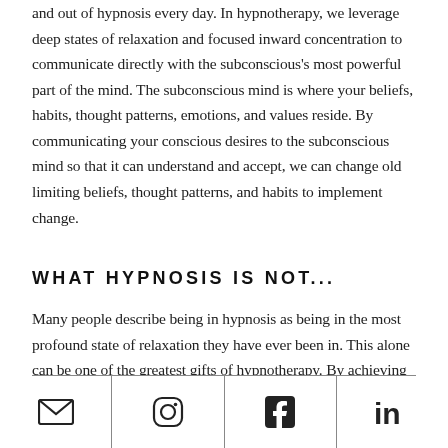and out of hypnosis every day. In hypnotherapy, we leverage deep states of relaxation and focused inward concentration to communicate directly with the subconscious's most powerful part of the mind. The subconscious mind is where your beliefs, habits, thought patterns, emotions, and values reside. By communicating your conscious desires to the subconscious mind so that it can understand and accept, we can change old limiting beliefs, thought patterns, and habits to implement change.
WHAT HYPNOSIS IS NOT...
Many people describe being in hypnosis as being in the most profound state of relaxation they have ever been in. This alone can be one of the greatest gifts of hypnotherapy. By achieving this relaxed state, your mind is in its most intuitive and creative state. Hypnotherapy is like meditation with a specific goal. I will guide you into this state easily
[Figure (infographic): Footer bar with four social media icons: email (envelope), Instagram, Facebook, LinkedIn, separated by vertical lines]